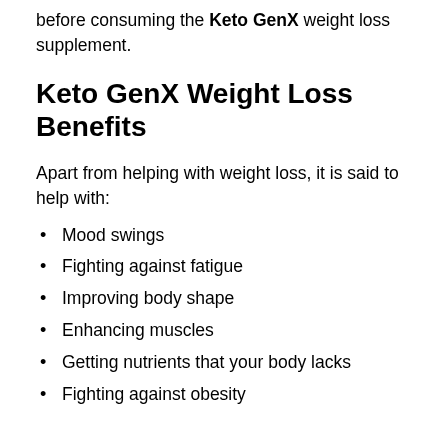before consuming the Keto GenX weight loss supplement.
Keto GenX Weight Loss Benefits
Apart from helping with weight loss, it is said to help with:
Mood swings
Fighting against fatigue
Improving body shape
Enhancing muscles
Getting nutrients that your body lacks
Fighting against obesity